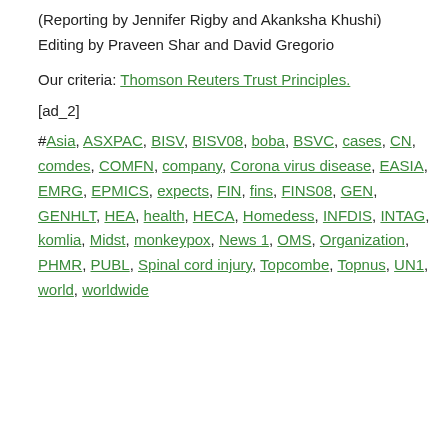(Reporting by Jennifer Rigby and Akanksha Khushi) Editing by Praveen Shar and David Gregorio
Our criteria: Thomson Reuters Trust Principles.
[ad_2]
#Asia, ASXPAC, BISV, BISV08, boba, BSVC, cases, CN, comdes, COMFN, company, Corona virus disease, EASIA, EMRG, EPMICS, expects, FIN, fins, FINS08, GEN, GENHLT, HEA, health, HECA, Homedess, INFDIS, INTAG, komlia, Midst, monkeypox, News 1, OMS, Organization, PHMR, PUBL, Spinal cord injury, Topcombe, Topnus, UN1, world, worldwide